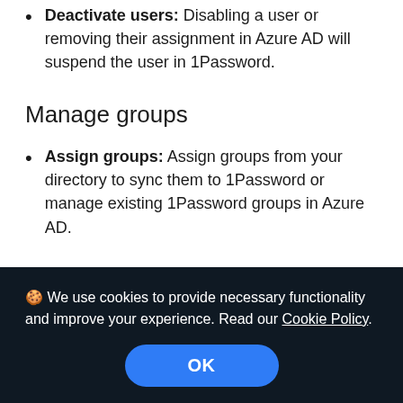Deactivate users: Disabling a user or removing their assignment in Azure AD will suspend the user in 1Password.
Manage groups
Assign groups: Assign groups from your directory to sync them to 1Password or manage existing 1Password groups in Azure AD.
🍪 We use cookies to provide necessary functionality and improve your experience. Read our Cookie Policy.